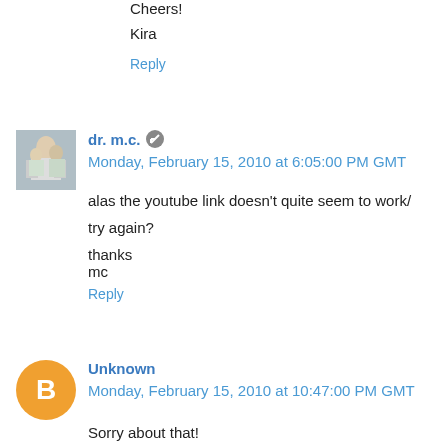Cheers!
Kira
Reply
dr. m.c. Monday, February 15, 2010 at 6:05:00 PM GMT
alas the youtube link doesn't quite seem to work/
try again?
thanks
mc
Reply
Unknown Monday, February 15, 2010 at 10:47:00 PM GMT
Sorry about that!